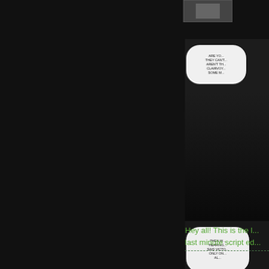[Figure (illustration): Partial view of a webcomic page showing two panels with dark backgrounds and speech bubbles. Top right area shows a small thumbnail image. The comic panels are partially visible on the right side with text in speech bubbles reading comic dialogue. URL watermark 'www.EnDC...' visible at bottom of comic area.]
Hey all! This is the l... last minute script ed...